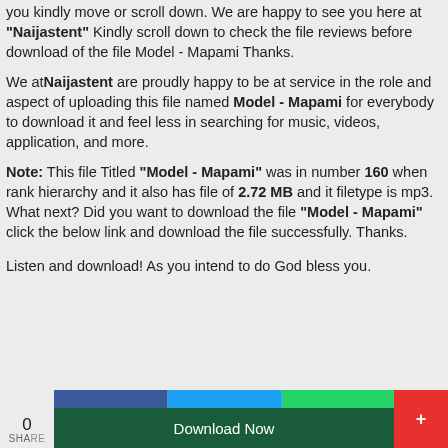you kindly move or scroll down. We are happy to see you here at "Naijastent" Kindly scroll down to check the file reviews before download of the file Model - Mapami Thanks.
We at Naijastent are proudly happy to be at service in the role and aspect of uploading this file named Model - Mapami for everybody to download it and feel less in searching for music, videos, application, and more.
Note: This file Titled "Model - Mapami" was in number 160 when rank hierarchy and it also has file of 2.72 MB and it filetype is mp3.
What next? Did you want to download the file "Model - Mapami" click the below link and download the file successfully. Thanks.
Listen and download! As you intend to do God bless you.